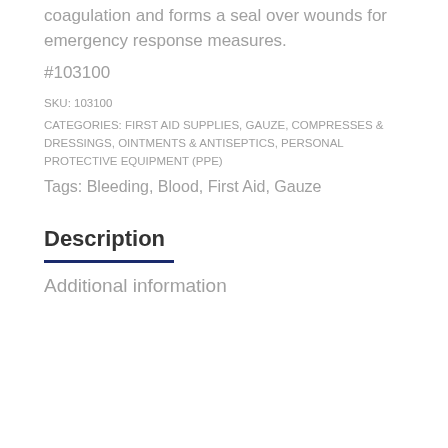coagulation and forms a seal over wounds for emergency response measures.
#103100
SKU: 103100
CATEGORIES: FIRST AID SUPPLIES, GAUZE, COMPRESSES & DRESSINGS, OINTMENTS & ANTISEPTICS, PERSONAL PROTECTIVE EQUIPMENT (PPE)
Tags: Bleeding, Blood, First Aid, Gauze
Description
Additional information